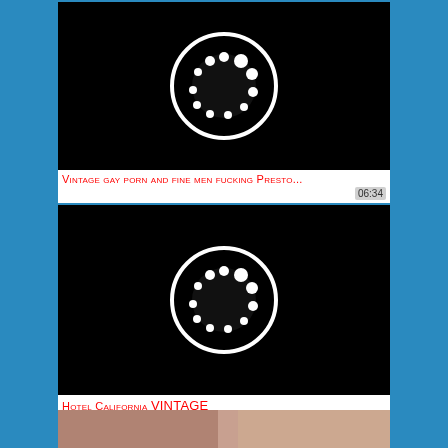[Figure (screenshot): Video thumbnail with black background and circular loading spinner icon (white circle with dots)]
Vintage gay porn and fine men fucking Presto... 06:34
[Figure (screenshot): Video thumbnail with black background and circular loading spinner icon (white circle with dots)]
Hotel California VINTAGE 94:15
[Figure (photo): Partial video thumbnail showing human figures]